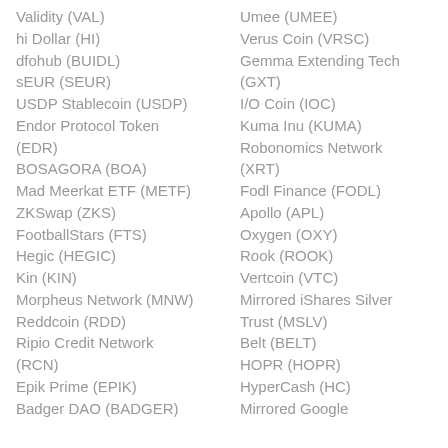Validity (VAL)
hi Dollar (HI)
dfohub (BUIDL)
sEUR (SEUR)
USDP Stablecoin (USDP)
Endor Protocol Token (EDR)
BOSAGORA (BOA)
Mad Meerkat ETF (METF)
ZKSwap (ZKS)
FootballStars (FTS)
Hegic (HEGIC)
Kin (KIN)
Morpheus Network (MNW)
Reddcoin (RDD)
Ripio Credit Network (RCN)
Epik Prime (EPIK)
Badger DAO (BADGER)
Umee (UMEE)
Verus Coin (VRSC)
Gemma Extending Tech (GXT)
I/O Coin (IOC)
Kuma Inu (KUMA)
Robonomics Network (XRT)
Fodl Finance (FODL)
Apollo (APL)
Oxygen (OXY)
Rook (ROOK)
Vertcoin (VTC)
Mirrored iShares Silver Trust (MSLV)
Belt (BELT)
HOPR (HOPR)
HyperCash (HC)
Mirrored Google